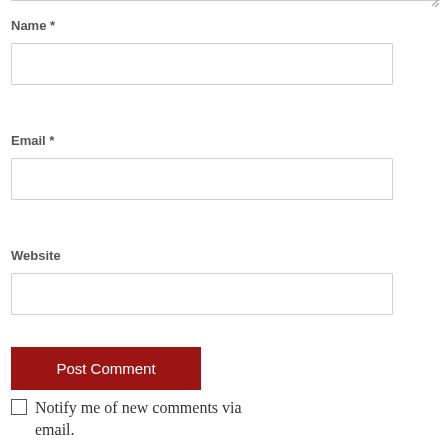Name *
[Figure (other): Name input text field (empty)]
Email *
[Figure (other): Email input text field (empty)]
Website
[Figure (other): Website input text field (empty)]
[Figure (other): Post Comment button (dark red)]
Notify me of new comments via email.